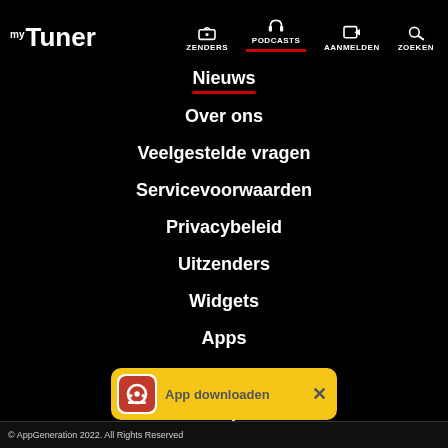myTuner — ZENDERS | PODCASTS | AANMELDEN | ZOEKEN
Nieuws
Over ons
Veelgestelde vragen
Servicevoorwaarden
Privacybeleid
Uitzenders
Widgets
Apps
Apparaten en apparatuur
Contact opnemen
[Figure (screenshot): App downloaden banner with red radio icon and yellow background]
© AppGeneration 2022. All Rights Reserved